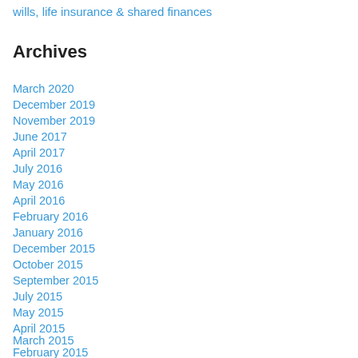wills, life insurance & shared finances
Archives
March 2020
December 2019
November 2019
June 2017
April 2017
July 2016
May 2016
April 2016
February 2016
January 2016
December 2015
October 2015
September 2015
July 2015
May 2015
April 2015
March 2015
February 2015
January 2015